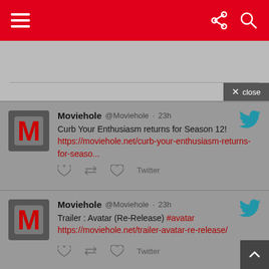Moviehole mobile site header with hamburger menu, share icon, search icon
[Figure (screenshot): Search bar area with close button]
Moviehole @Moviehole · 23h
Curb Your Enthusiasm returns for Season 12!
https://moviehole.net/curb-your-enthusiasm-returns-for-seaso...
Moviehole @Moviehole · 23h
Trailer : Avatar (Re-Release) #avatar
https://moviehole.net/trailer-avatar-re-release/
Moviehole @Moviehole · 23h
Amusing trailer for Keegan-Michael Key's upcoming TV return Reboot https://moviehole.net/amusing-trailer-for-keegan-michael-key...